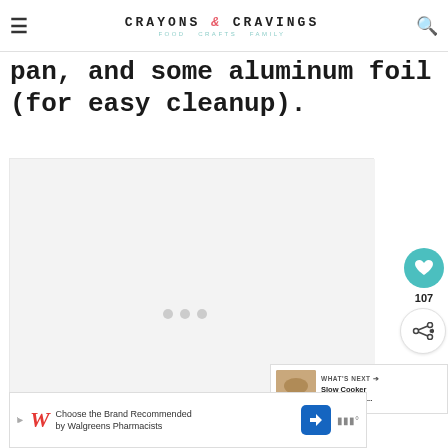CRAYONS & CRAVINGS — FOOD CRAFTS FAMILY
pan, and some aluminum foil (for easy cleanup).
[Figure (photo): Large image placeholder area with loading dots]
107
WHAT'S NEXT → Slow Cooker Cracker Barr...
Choose the Brand Recommended by Walgreens Pharmacists